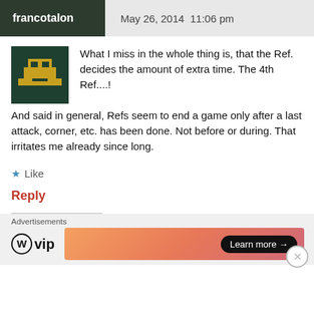francotalon   May 26, 2014 11:06 pm
[Figure (illustration): Pixel art avatar showing a yellow vehicle/tank sprite on dark green background]
What I miss in the whole thing is, that the Ref. decides the amount of extra time. The 4th Ref....! And said in general, Refs seem to end a game only after a last attack, corner, etc. has been done. Not before or during. That irritates me already since long.
Like
Reply
Advertisements
[Figure (logo): WordPress VIP logo with circle W icon and 'vip' text]
[Figure (infographic): Orange/pink gradient ad banner with 'Learn more' button]